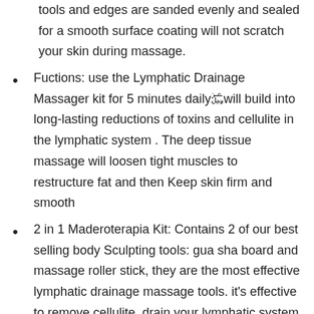tools and edges are sanded evenly and sealed for a smooth surface coating will not scratch your skin during massage.
Fuctions: use the Lymphatic Drainage Massager kit for 5 minutes dailyþwill build into long-lasting reductions of toxins and cellulite in the lymphatic system . The deep tissue massage will loosen tight muscles to restructure fat and then Keep skin firm and smooth
2 in 1 Maderoterapia Kit: Contains 2 of our best selling body Sculpting tools: gua sha board and massage roller stick, they are the most effective lymphatic drainage massage tools. it's effective to remove cellulite, drain your lymphatic system and give you a deep tissue muscle massage